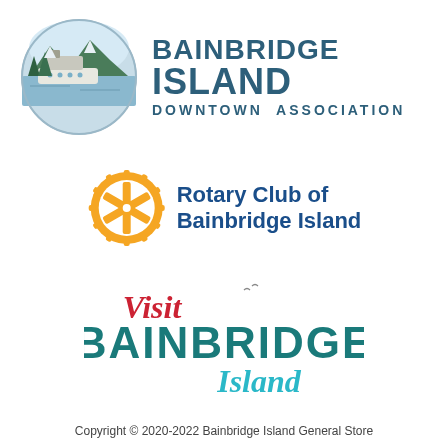[Figure (logo): Bainbridge Island Downtown Association logo with circular ferry/island illustration and bold teal text]
[Figure (logo): Rotary Club of Bainbridge Island logo with orange Rotary gear wheel and bold blue text]
[Figure (logo): Visit Bainbridge Island logo with script 'Visit' in red and bold teal BAINBRIDGE with cursive Island]
Copyright © 2020-2022 Bainbridge Island General Store